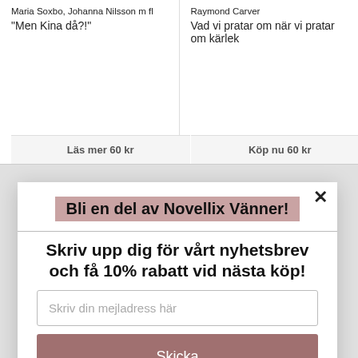Maria Soxbo, Johanna Nilsson m fl
"Men Kina då?!"
Raymond Carver
Vad vi pratar om när vi pratar om kärlek
Läs mer 60 kr
Köp nu 60 kr
Bli en del av Novellix Vänner!
Skriv upp dig för vårt nyhetsbrev och få 10% rabatt vid nästa köp!
Skriv din mejladress här
Skicka
powered by MailMunch